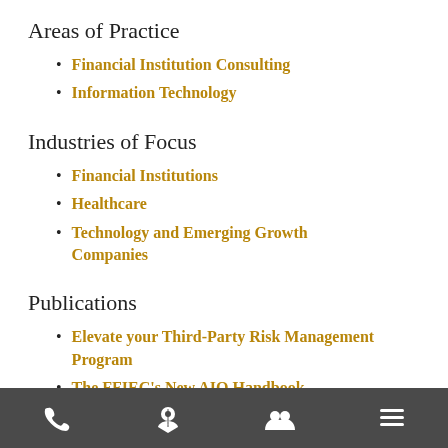Areas of Practice
Financial Institution Consulting
Information Technology
Industries of Focus
Financial Institutions
Healthcare
Technology and Emerging Growth Companies
Publications
Elevate your Third-Party Risk Management Program
The FFIEC's New AIO Handbook